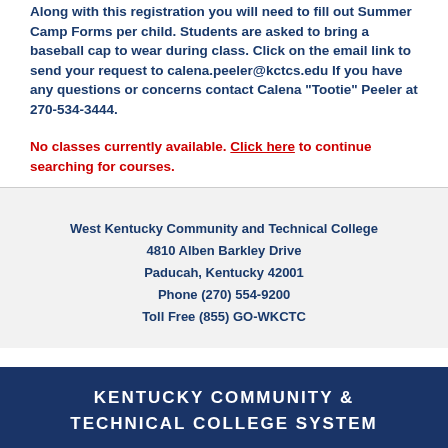Along with this registration you will need to fill out Summer Camp Forms per child. Students are asked to bring a baseball cap to wear during class. Click on the email link to send your request to calena.peeler@kctcs.edu If you have any questions or concerns contact Calena "Tootie" Peeler at 270-534-3444.
No classes currently available. Click here to continue searching for courses.
West Kentucky Community and Technical College
4810 Alben Barkley Drive
Paducah, Kentucky 42001
Phone (270) 554-9200
Toll Free (855) GO-WKCTC
KENTUCKY COMMUNITY & TECHNICAL COLLEGE SYSTEM